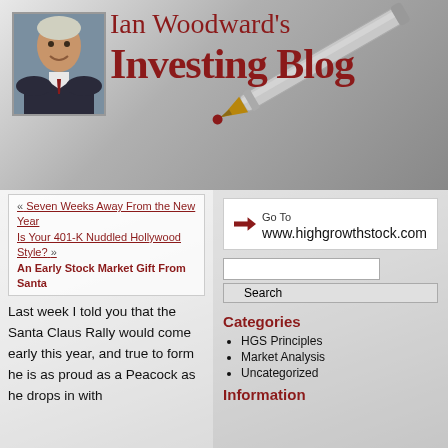[Figure (photo): Portrait photo of Ian Woodward, older gentleman in suit]
[Figure (photo): Close-up photo of a pen/pencil on gray background]
Ian Woodward's Investing Blog
« Seven Weeks Away From the New Year
Is Your 401-K Nuddled Hollywood Style? »
An Early Stock Market Gift From Santa
Last week I told you that the Santa Claus Rally would come early this year, and true to form he is as proud as a Peacock as he drops in with
Go To www.highgrowthstock.com
Categories
HGS Principles
Market Analysis
Uncategorized
Information